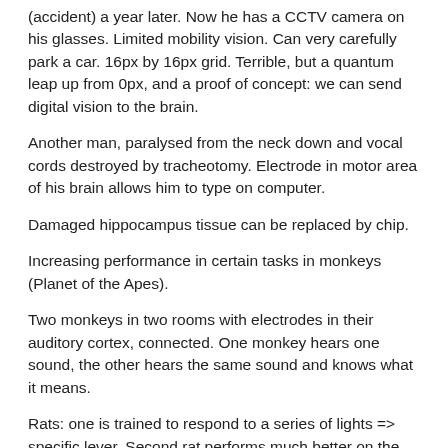(accident) a year later. Now he has a CCTV camera on his glasses. Limited mobility vision. Can very carefully park a car. 16px by 16px grid. Terrible, but a quantum leap up from 0px, and a proof of concept: we can send digital vision to the brain.
Another man, paralysed from the neck down and vocal cords destroyed by tracheotomy. Electrode in motor area of his brain allows him to type on computer.
Damaged hippocampus tissue can be replaced by chip.
Increasing performance in certain tasks in monkeys (Planet of the Apes).
Two monkeys in two rooms with electrodes in their auditory cortex, connected. One monkey hears one sound, the other hears the same sound and knows what it means.
Rats: one is trained to respond to a series of lights => specific lever. Second rat performs much better on the test than if he had no prior knowledge. (Thousands of km away.)
Two computer scientists playing a video game as a single player thousands of miles away.
His memory is being implanted by the same from someone else.